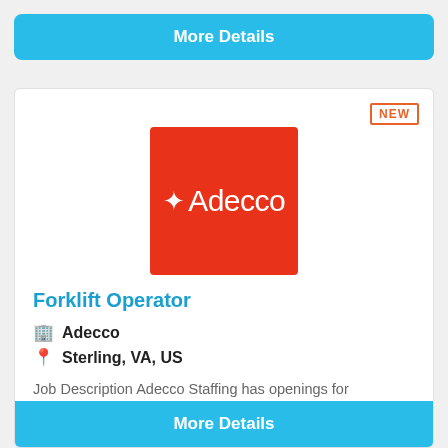More Details
[Figure (logo): Adecco company logo — white text on red square background]
Forklift Operator
Adecco
Sterling, VA, US
Job Description Adecco Staffing has openings for Warehouse/Forklift Operators in Sterling VA.. If you are searching for a fantastic opportunity and have experience as a Warehouse/Forklift Operator. T...
More Details